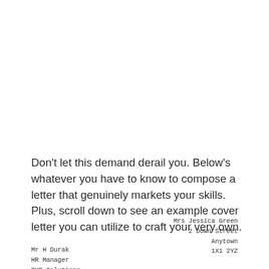Don't let this demand derail you. Below's whatever you have to know to compose a letter that genuinely markets your skills. Plus, scroll down to see an example cover letter you can utilize to craft your very own.
Mrs Jessica Green
2 Down Street
Anytown
1X1 2YZ
Mr H Durak
HR Manager
BHB Solutions
780 The Street